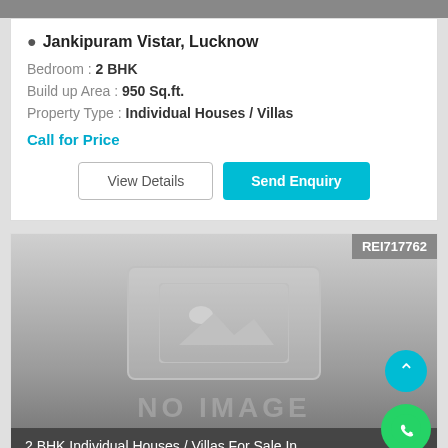Jankipuram Vistar, Lucknow
Bedroom : 2 BHK
Build up Area : 950 Sq.ft.
Property Type : Individual Houses / Villas
Call for Price
View Details
Send Enquiry
REI717762
[Figure (photo): No image placeholder with mountain/image icon and NO IMAGE watermark text]
2 BHK Individual Houses / Villas For Sale In ...
Jankipuram Vistar, Lucknow
Bedroom : 2 BHK